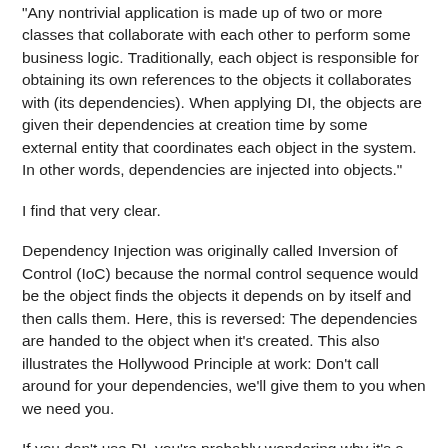"Any nontrivial application is made up of two or more classes that collaborate with each other to perform some business logic. Traditionally, each object is responsible for obtaining its own references to the objects it collaborates with (its dependencies). When applying DI, the objects are given their dependencies at creation time by some external entity that coordinates each object in the system. In other words, dependencies are injected into objects."
I find that very clear.
Dependency Injection was originally called Inversion of Control (IoC) because the normal control sequence would be the object finds the objects it depends on by itself and then calls them. Here, this is reversed: The dependencies are handed to the object when it's created. This also illustrates the Hollywood Principle at work: Don't call around for your dependencies, we'll give them to you when we need you.
If you don't use DI, you're probably wondering why it's a big deal. It delivers a key advantage: loose coupling. Objects can be added and tested independently of other objects, because they don't depend on anything other than what you hand them.